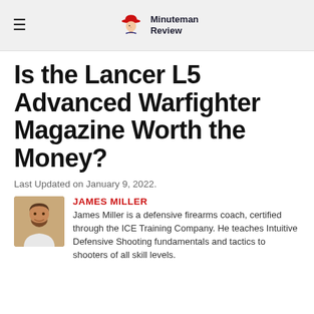Minuteman Review
Is the Lancer L5 Advanced Warfighter Magazine Worth the Money?
Last Updated on January 9, 2022.
JAMES MILLER
James Miller is a defensive firearms coach, certified through the ICE Training Company. He teaches Intuitive Defensive Shooting fundamentals and tactics to shooters of all skill levels.